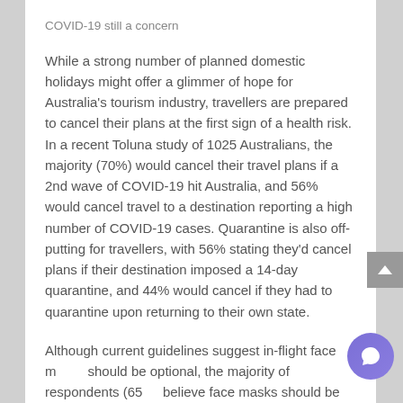COVID-19 still a concern
While a strong number of planned domestic holidays might offer a glimmer of hope for Australia's tourism industry, travellers are prepared to cancel their plans at the first sign of a health risk. In a recent Toluna study of 1025 Australians, the majority (70%) would cancel their travel plans if a 2nd wave of COVID-19 hit Australia, and 56% would cancel travel to a destination reporting a high number of COVID-19 cases. Quarantine is also off-putting for travellers, with 56% stating they'd cancel plans if their destination imposed a 14-day quarantine, and 44% would cancel if they had to quarantine upon returning to their own state.
Although current guidelines suggest in-flight face masks should be optional, the majority of respondents (65%) believe face masks should be mandatory on flights.